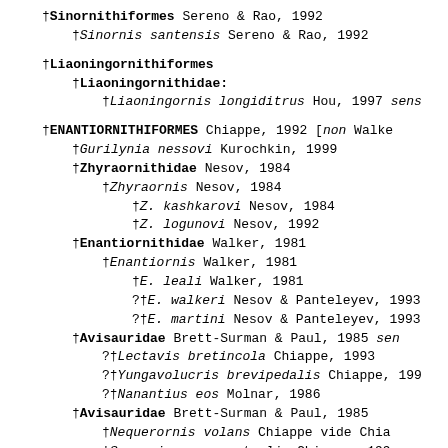†Sinornithiformes Sereno & Rao, 1992
†Sinornis santensis Sereno & Rao, 1992
†Liaoningornithiformes
†Liaoningornithidae:
†Liaoningornis longiditrus Hou, 1997 sens
†ENANTIORNITHIFORMES Chiappe, 1992 [non Walke
†Gurilynia nessovi Kurochkin, 1999
†Zhyraornithidae Nesov, 1984
†Zhyraornis Nesov, 1984
†Z. kashkarovi Nesov, 1984
†Z. logunovi Nesov, 1992
†Enantiornithidae Walker, 1981
†Enantiornis Walker, 1981
†E. leali Walker, 1981
?†E. walkeri Nesov & Panteleyev, 1993
?†E. martini Nesov & Panteleyev, 1993
†Avisauridae Brett-Surman & Paul, 1985 sen
?†Lectavis bretincola Chiappe, 1993
?†Yungavolucris brevipedalis Chiappe, 199
?†Nanantius eos Molnar, 1986
†Avisauridae Brett-Surman & Paul, 1985
†Nequerornis volans Chiappe vide Chia
†Soroavisaurus australis Chiappe, 199
†Avisaurus Brett-Surman & Paul, 1985